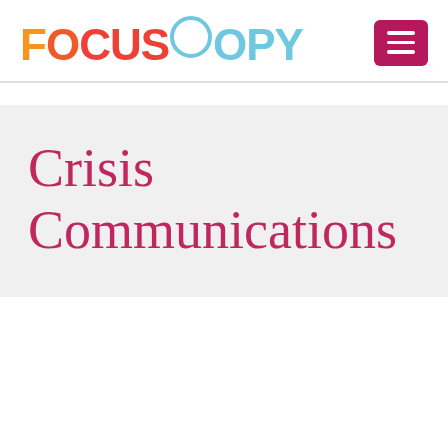[Figure (logo): FocusCopy logo with multicolored lettering: FOCUS in orange-red gradient, a light blue circle O, COPY in light blue, followed by a magenta hamburger menu button]
Crisis Communications